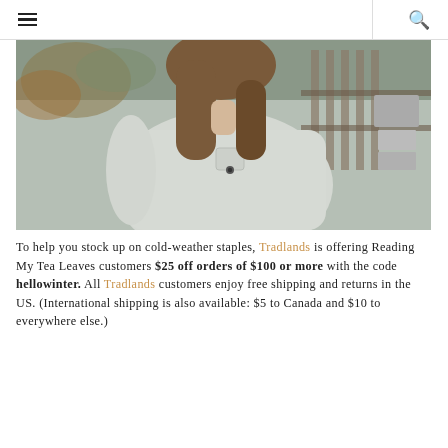☰ 🔍
[Figure (photo): Woman seen from behind wearing a light grey heather zip-up pullover with a small chest pocket and button, standing outdoors with autumn foliage and wooden fence in background.]
To help you stock up on cold-weather staples, Tradlands is offering Reading My Tea Leaves customers $25 off orders of $100 or more with the code hellowinter. All Tradlands customers enjoy free shipping and returns in the US. (International shipping is also available: $5 to Canada and $10 to everywhere else.)